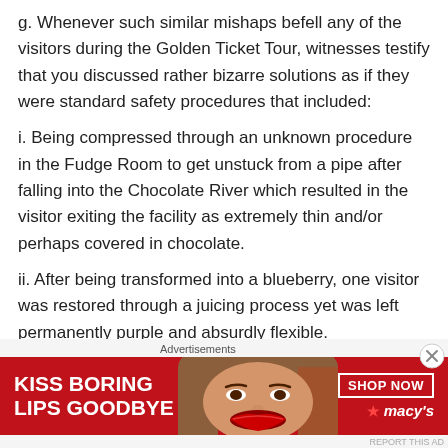g. Whenever such similar mishaps befell any of the visitors during the Golden Ticket Tour, witnesses testify that you discussed rather bizarre solutions as if they were standard safety procedures that included:
i. Being compressed through an unknown procedure in the Fudge Room to get unstuck from a pipe after falling into the Chocolate River which resulted in the visitor exiting the facility as extremely thin and/or perhaps covered in chocolate.
ii. After being transformed into a blueberry, one visitor was restored through a juicing process yet was left permanently purple and absurdly flexible.
[Figure (other): Advertisement banner for Macy's lip products reading 'KISS BORING LIPS GOODBYE' with SHOP NOW button and Macy's star logo, featuring a woman's face with red lipstick.]